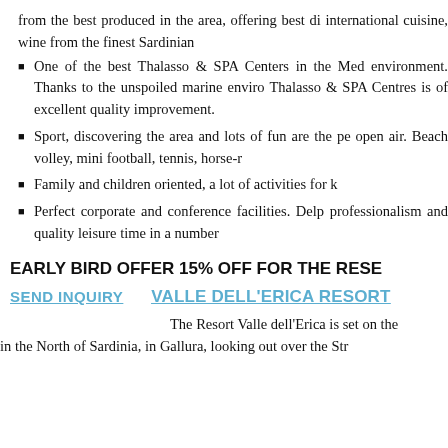from the best produced in the area, offering best di international cuisine, wine from the finest Sardinian
One of the best Thalasso & SPA Centers in the Med environment. Thanks to the unspoiled marine enviro Thalasso & SPA Centres is of excellent quality improvement.
Sport, discovering the area and lots of fun are the pe open air. Beach volley, mini football, tennis, horse-r
Family and children oriented, a lot of activities for k
Perfect corporate and conference facilities. Delp professionalism and quality leisure time in a number
EARLY BIRD OFFER 15% OFF FOR THE RESE
SEND INQUIRY   VALLE DELL'ERICA RESORT
The Resort Valle dell'Erica is set on the in the North of Sardinia, in Gallura, looking out over the Str